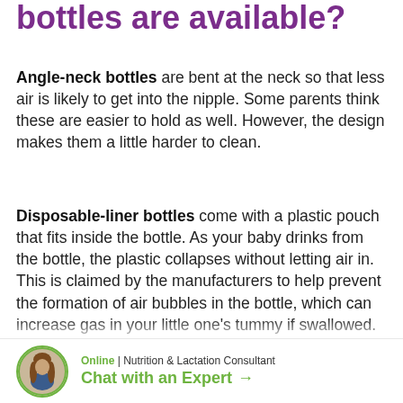bottles are available?
Angle-neck bottles are bent at the neck so that less air is likely to get into the nipple. Some parents think these are easier to hold as well. However, the design makes them a little harder to clean.
Disposable-liner bottles come with a plastic pouch that fits inside the bottle. As your baby drinks from the bottle, the plastic collapses without letting air in. This is claimed by the manufacturers to help prevent the formation of air bubbles in the bottle, which can increase gas in your little one's tummy if swallowed. They are
[Figure (photo): Circular avatar photo of a woman (Nutrition & Lactation Consultant) with a green circle border, alongside 'Online | Nutrition & Lactation Consultant' and 'Chat with an Expert →' call-to-action in green.]